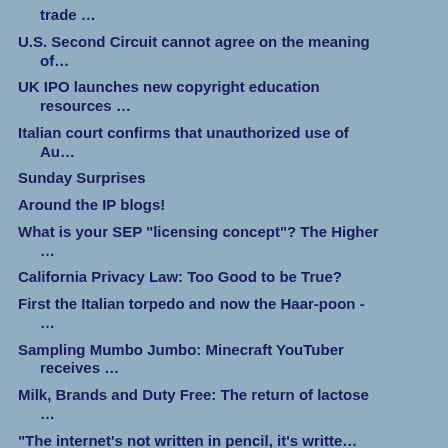trade …
U.S. Second Circuit cannot agree on the meaning of…
UK IPO launches new copyright education resources …
Italian court confirms that unauthorized use of Au…
Sunday Surprises
Around the IP blogs!
What is your SEP "licensing concept"? The Higher …
California Privacy Law: Too Good to be True?
First the Italian torpedo and now the Haar-poon - …
Sampling Mumbo Jumbo: Minecraft YouTuber receives …
Milk, Brands and Duty Free: The return of lactose …
“The internet’s not written in pencil, it’s writte…
Narrowing the definition of accidental…